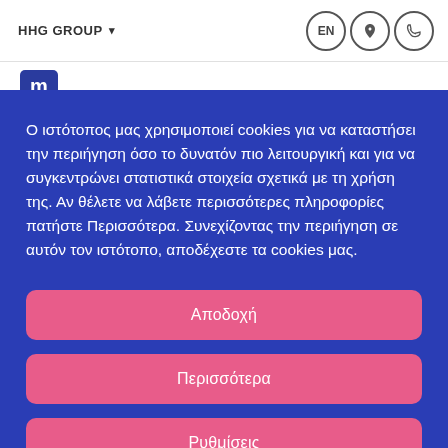HHG GROUP
[Figure (logo): Blue 'm' logo mark]
Ο ιστότοπος μας χρησιμοποιεί cookies για να καταστήσει την περιήγηση όσο το δυνατόν πιο λειτουργική και για να συγκεντρώνει στατιστικά στοιχεία σχετικά με τη χρήση της. Αν θέλετε να λάβετε περισσότερες πληροφορίες πατήστε Περισσότερα. Συνεχίζοντας την περιήγηση σε αυτόν τον ιστότοπο, αποδέχεστε τα cookies μας.
Αποδοχή
Περισσότερα
Ρυθμίσεις